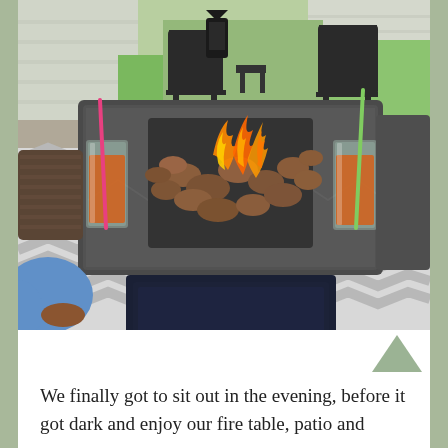[Figure (photo): Outdoor patio scene showing a square fire pit table with dark grey stone top, lava rocks and open flames in the center. Two tall glasses with orange drinks (bloody mary style) sit on either side — one with a pink straw on the left and one with a green straw on the right. Two black metal chairs are visible in the background. A grey and white chevron rug is on the ground. A person in blue clothing is partially visible in the lower left.]
We finally got to sit out in the evening, before it got dark and enjoy our fire table, patio and